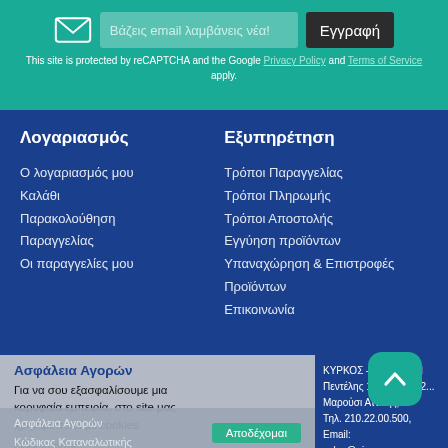Βάζεις email λαμβάνεις νέα! [input] Εγγραφή
This site is protected by reCAPTCHA and the Google Privacy Policy and Terms of Service apply.
Λογαριασμός
Ο λογαριασμός μου
Καλάθι
Παρακολούθηση Παραγγελίας
Οι παραγγελίες μου
Εξυπηρέτηση
Τρόποι Παραγγελίας
Τρόποι Πληρωμής
Τρόποι Αποστολής
Εγγύηση προϊόντων
Υπαναχώρηση & Επιστροφές Προϊόντων
Επικοινωνία
Ασφάλεια Αγορών
Για να σου εξασφαλίσουμε μια κορυφαία εμπειρία, στο site μας χρησιμοποιούμε cookies.
Όροι Χρήσης
Μάθε περισσότερα
Προσωπικά Δεδομένα
Ασφάλεια Αγορών
Αποδέχομαι
Κώδικας Καταναλωτικής
ΚΥΡΚΟΣ – ΑΛΑΦΟΔΗ...
Πεντέλης 110, ΤΚ 1512...
Μαρούσι Αττικής,
Τηλ. 210.22.00.500, Email:
sales@piz.gr
[Figure (map): Street map thumbnail showing roads and green areas]
[Figure (other): Scroll-to-top button with upward chevron arrow, teal rounded square button]